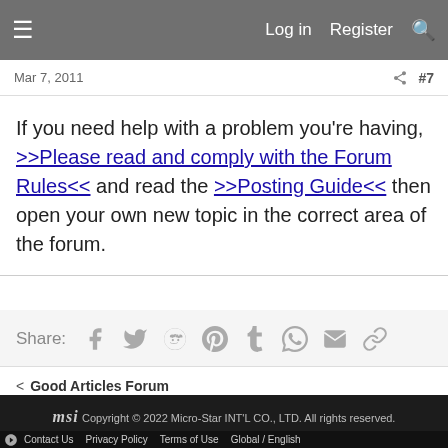Log in   Register
Mar 7, 2011   #7
If you need help with a problem you're having, >>Please read and comply with the Forum Rules<< and read the >>Posting Guide<< then open your own new topic in the correct area of the forum.
Share: [social icons: Facebook, Twitter, Reddit, Pinterest, Tumblr, WhatsApp, Email, Link]
< Good Articles Forum
MSI Copyright © 2022 Micro-Star INT'L CO., LTD. All rights reserved.
Contact Us   Privacy Policy   Terms of Use   Global / English